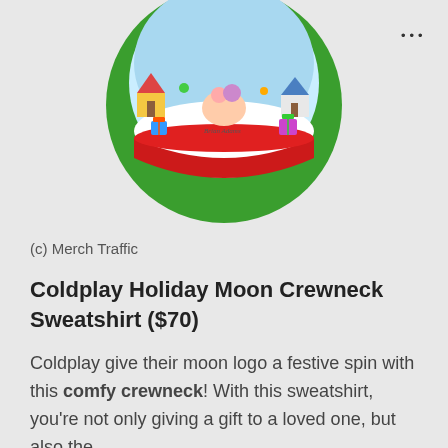[Figure (illustration): A circular green badge/logo showing a festive holiday scene inside a snow globe bowl. The scene features a red sleigh-style base, Christmas houses, gift boxes, and figures. The circle has a dark green background.]
(c) Merch Traffic
Coldplay Holiday Moon Crewneck Sweatshirt ($70)
Coldplay give their moon logo a festive spin with this comfy crewneck! With this sweatshirt, you're not only giving a gift to a loved one, but also the